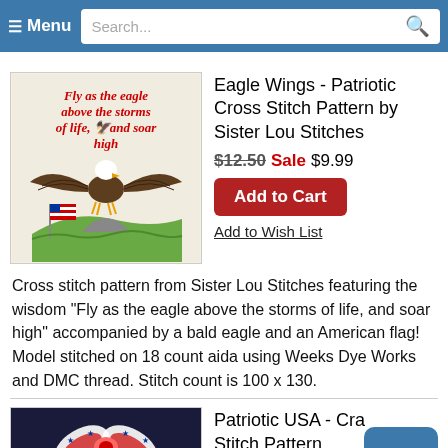≡ Menu  Search...
[Figure (illustration): Cross stitch embroidery pattern showing an eagle with wings spread, American flag, and text 'Fly as the eagle above the storms of life, and soar high']
Eagle Wings - Patriotic Cross Stitch Pattern by Sister Lou Stitches
$12.50 Sale $9.99
Add to Cart
Add to Wish List
Cross stitch pattern from Sister Lou Stitches featuring the wisdom "Fly as the eagle above the storms of life, and soar high" accompanied by a bald eagle and an American flag!
Model stitched on 18 count aida using Weeks Dye Works and DMC thread. Stitch count is 100 x 130.
[Figure (photo): Patriotic bow with American flag ribbon pattern on dark background]
Patriotic USA - Cross Stitch Pattern